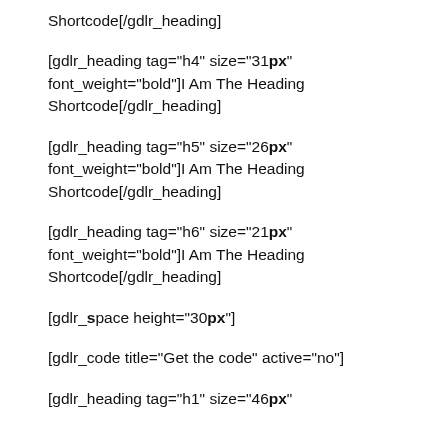Shortcode[/gdlr_heading]
[gdlr_heading tag="h4" size="31px" font_weight="bold"]I Am The Heading Shortcode[/gdlr_heading]
[gdlr_heading tag="h5" size="26px" font_weight="bold"]I Am The Heading Shortcode[/gdlr_heading]
[gdlr_heading tag="h6" size="21px" font_weight="bold"]I Am The Heading Shortcode[/gdlr_heading]
[gdlr_space height="30px"]
[gdlr_code title="Get the code" active="no"]
[gdlr_heading tag="h1" size="46px"